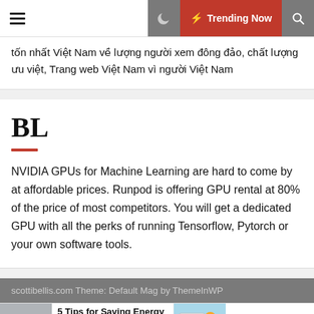Trending Now
tốn nhất Việt Nam về lượng người xem đông đảo, chất lượng ưu việt, Trang web Việt Nam vì người Việt Nam
BL
NVIDIA GPUs for Machine Learning are hard to come by at affordable prices. Runpod is offering GPU rental at 80% of the price of most competitors. You will get a dedicated GPU with all the perks of running Tensorflow, Pytorch or your own software tools.
scottibellis.com Theme: Default Mag by ThemeInWP
5 Tips for Saving Energy When Using Your Computer
How to